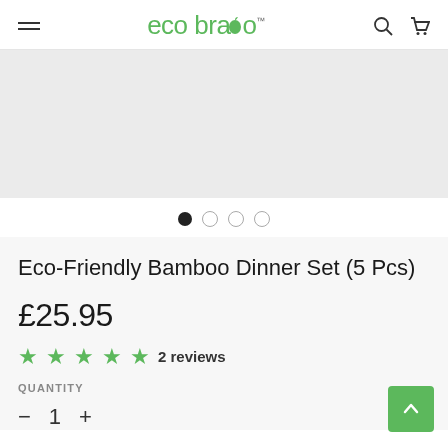eco bravo — navigation header with hamburger menu, search and cart icons
[Figure (other): Product image slider placeholder area, light grey background]
● ○ ○ ○  (image carousel dots, first dot active)
Eco-Friendly Bamboo Dinner Set (5 Pcs)
£25.95
★★★★★ 2 reviews
QUANTITY
− 1 +